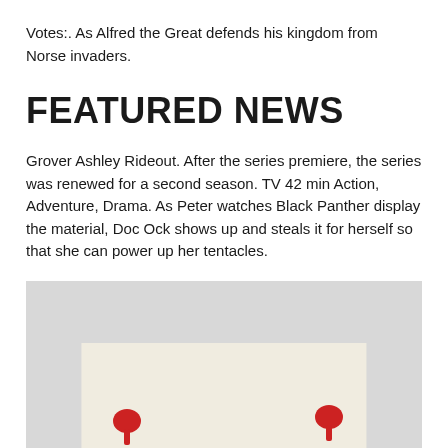Votes:. As Alfred the Great defends his kingdom from Norse invaders.
FEATURED NEWS
Grover Ashley Rideout. After the series premiere, the series was renewed for a second season. TV 42 min Action, Adventure, Drama. As Peter watches Black Panther display the material, Doc Ock shows up and steals it for herself so that she can power up her tentacles.
[Figure (photo): A photo showing a light gray background with a white/cream colored paper card or document. On the card there are small red figures or icons visible at the bottom.]